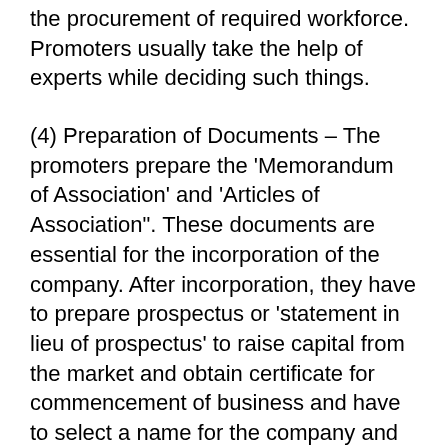the procurement of required workforce. Promoters usually take the help of experts while deciding such things.
(4) Preparation of Documents – The promoters prepare the 'Memorandum of Association' and 'Articles of Association". These documents are essential for the incorporation of the company. After incorporation, they have to prepare prospectus or 'statement in lieu of prospectus' to raise capital from the market and obtain certificate for commencement of business and have to select a name for the company and submit application to the registrar of companies of the state in which the registered office of the company is to be situated.